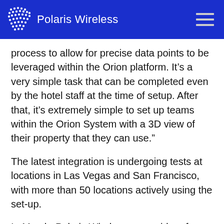Polaris Wireless
process to allow for precise data points to be leveraged within the Orion platform. It’s a very simple task that can be completed even by the hotel staff at the time of setup. After that, it’s extremely simple to set up teams within the Orion System with a 3D view of their property that they can use.”
The latest integration is undergoing tests at locations in Las Vegas and San Francisco, with more than 50 locations actively using the set-up.
In March, Polaris Wireless, a provider of software-based 3D location solutions to wireless operators, law enforcement and government agencies, and location-based application companies, announced the commercial availability of its high-accuracy carrier-independent 3D location platform for